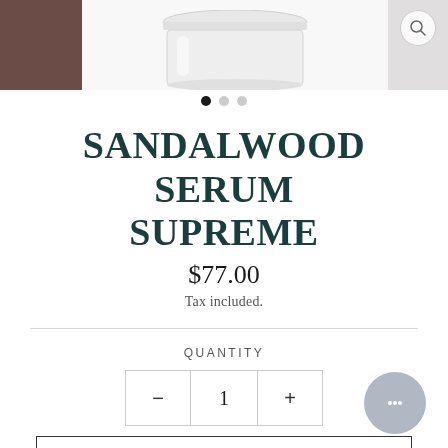[Figure (photo): Product image area showing a glass jar of Sandalwood Serum Supreme at the top, with a brown/dark panel on the left and a grayish panel on the right. A search icon (magnifying glass) is shown in the upper right area. Three navigation dots are visible below the image.]
SANDALWOOD SERUM SUPREME
$77.00
Tax included.
QUANTITY
1
ADD TO CART